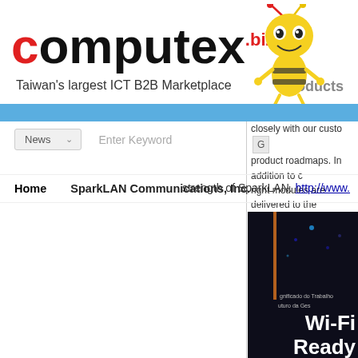[Figure (logo): Computex.biz logo with red 'c' and black 'omputex' text, '.biz' in red superscript]
Taiwan's largest ICT B2B Marketplace
Products
[Figure (illustration): Computex bee mascot character - smiling yellow bee with antenna]
News   Enter Keyword
closely with our customers on product roadmaps. In addition to ensuring the right modules are delivered to the strength of SparkLAN. http://www.
Home   SparkLAN Communications, Inc.   News
[Figure (photo): Dark indoor photo with Wi-Fi Ready text overlay. Shows event space with orange vertical line, small blue dots of light. Small text reads 'gnificado do Trabalho' and 'uturo da Ges']